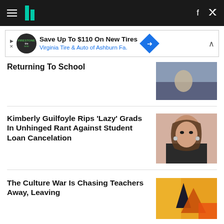HuffPost navigation bar with hamburger menu, logo, Facebook and Twitter icons
[Figure (screenshot): Advertisement banner: Save Up To $110 On New Tires - Virginia Tire & Auto of Ashburn Fa.]
Returning To School
[Figure (photo): Photo related to Returning To School article]
Kimberly Guilfoyle Rips 'Lazy' Grads In Unhinged Rant Against Student Loan Cancelation
[Figure (photo): Photo of Kimberly Guilfoyle]
The Culture War Is Chasing Teachers Away, Leaving
[Figure (photo): Colorful artistic photo with orange background]